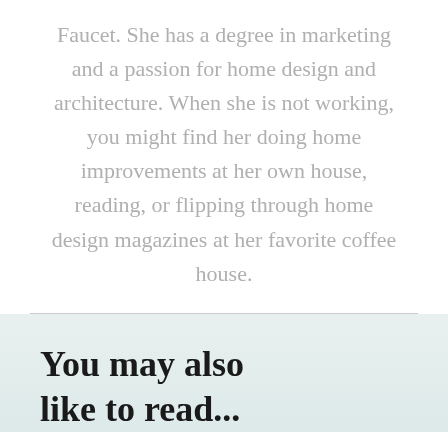Faucet. She has a degree in marketing and a passion for home design and architecture. When she is not working, you might find her doing home improvements at her own house, reading, or flipping through home design magazines at her favorite coffee house.
You may also like to read...